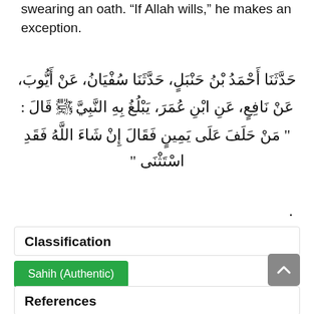swearing an oath. "If Allah wills," he makes an exception.
حَدَّثَنَا أَحْمَدُ بْنُ حَنْبَلٍ، حَدَّثَنَا سُفْيَانُ، عَنْ أَيُّوبَ، عَنْ نَافِعٍ، عَنِ ابْنِ عُمَرَ، يَبْلُغُ بِهِ النَّبِيَّ ﷺ قَالَ : " مَنْ حَلَفَ عَلَى يَمِينٍ فَقَالَ إِنْ شَاءَ اللَّهُ فَقَدِ اسْتَثْنَى "
Classification
Sahih (Authentic)
References